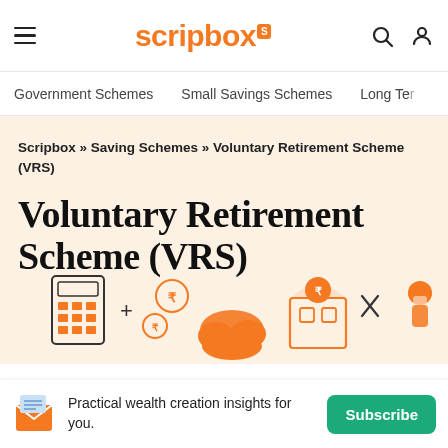scripbox — navigation header with hamburger menu, logo, search and profile icons
Government Schemes   Small Savings Schemes   Long Ter…
Scripbox » Saving Schemes » Voluntary Retirement Scheme (VRS)
Voluntary Retirement Scheme (VRS)
[Figure (illustration): Illustration showing a calculator, plus sign, rupee coin, cloud with rupee coins, a building/factory with rupee symbol, scissors/cut symbol, and a worker with a helmet — representing the Voluntary Retirement Scheme concept]
Practical wealth creation insights for you. [Subscribe button]